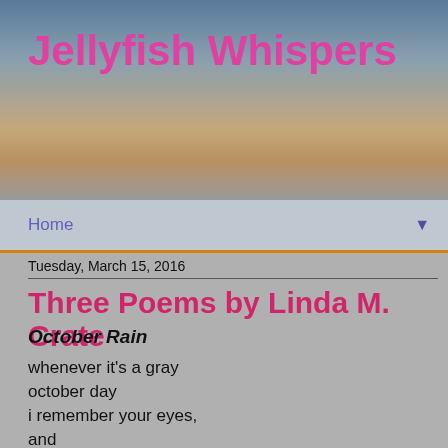Jellyfish Whispers
Home
Tuesday, March 15, 2016
Three Poems by Linda M. Crate
October Rain
whenever it's a gray
october day
i remember your eyes,
and
i think of you and your torment
of the agony i never knew
was always too lost
in my own world